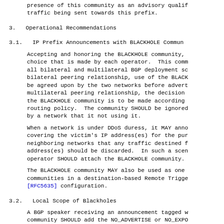presence of this community as an advisory qualif
traffic being sent towards this prefix.
3.   Operational Recommendations
3.1.   IP Prefix Announcements with BLACKHOLE Commun
Accepting and honoring the BLACKHOLE community,
choice that is made by each operator.  This comm
all bilateral and multilateral BGP deployment sc
bilateral peering relationship, use of the BLACK
be agreed upon by the two networks before advert
multilateral peering relationship, the decision
the BLACKHOLE community is to be made according
routing policy.  The community SHOULD be ignored
by a network that it not using it.
When a network is under DDoS duress, it MAY anno
covering the victim's IP address(es) for the pur
neighboring networks that any traffic destined f
address(es) should be discarded.  In such a scen
operator SHOULD attach the BLACKHOLE community.
The BLACKHOLE community MAY also be used as one
communities in a destination-based Remote Trigge
[RFC5635] configuration.
3.2.   Local Scope of Blackholes
A BGP speaker receiving an announcement tagged w
community SHOULD add the NO_ADVERTISE or NO_EXPO
defined in [RFC1997], or a similar community, to
of the prefix outside the local AS.  The communi